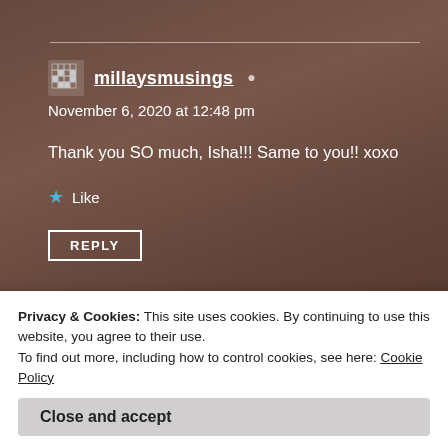[Figure (screenshot): Blog comment section on a website with a background photo of stacked antique books. Shows a comment by millaysmusings with a like button and reply button, and the beginning of another comment by ISHA.]
millaysmusings
November 6, 2020 at 12:48 pm
Thank you SO much, Isha!!! Same to you!! xoxo
Like
REPLY
ISHA lovesthebooktower
Privacy & Cookies: This site uses cookies. By continuing to use this website, you agree to their use.
To find out more, including how to control cookies, see here: Cookie Policy